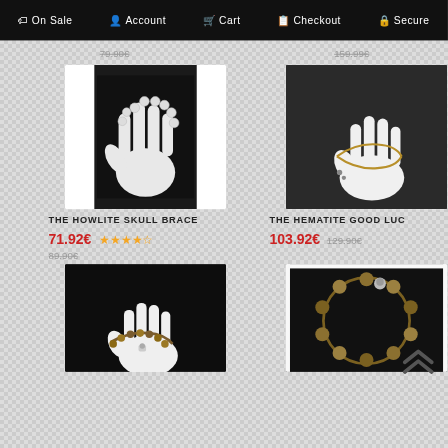On Sale | Account | Cart | Checkout | Secure
79.90€ (strikethrough)
159.99€ (strikethrough)
[Figure (photo): Black and white photo of white mannequin hand holding a pearl/skull bead bracelet on dark background, with white borders on sides]
[Figure (photo): White mannequin hand displaying a gold chain bracelet on dark grey background]
THE HOWLITE SKULL BRACE
71.92€ ★★★★☆
89.90€ (strikethrough)
THE HEMATITE GOOD LUC
103.92€ 129.90€ (strikethrough)
[Figure (photo): White mannequin hand wearing a brown beaded bracelet with skull charm on black background]
[Figure (photo): Circular bracelet with brown/golden beads and a skull charm bead, displayed on black background]
[Figure (other): Double chevron up arrow scroll-to-top button]